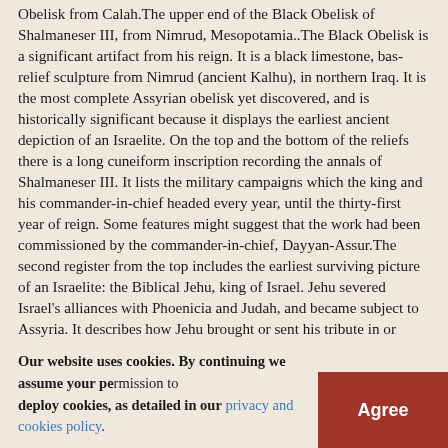Obelisk from Calah.The upper end of the Black Obelisk of Shalmaneser III, from Nimrud, Mesopotamia..The Black Obelisk is a significant artifact from his reign. It is a black limestone, bas-relief sculpture from Nimrud (ancient Kalhu), in northern Iraq. It is the most complete Assyrian obelisk yet discovered, and is historically significant because it displays the earliest ancient depiction of an Israelite. On the top and the bottom of the reliefs there is a long cuneiform inscription recording the annals of Shalmaneser III. It lists the military campaigns which the king and his commander-in-chief headed every year, until the thirty-first year of reign. Some features might suggest that the work had been commissioned by the commander-in-chief, Dayyan-Assur.The second register from the top includes the earliest surviving picture of an Israelite: the Biblical Jehu, king of Israel. Jehu severed Israel's alliances with Phoenicia and Judah, and became subject to Assyria. It describes how Jehu brought or sent his tribute in or around 841 BC.[citation needed] The caption above the scene, written in Assyrian cuneiform, can be translated:"The tribute of Jehu, son of Omri: I received from him silver, gold, a golden bowl, a golden vase with pointed bottom, golden tumblers, golden buckets, tin, a staff for a king [and] spears."It was erected as a public
Our website uses cookies. By continuing we assume your permission to deploy cookies, as detailed in our privacy and cookies policy.